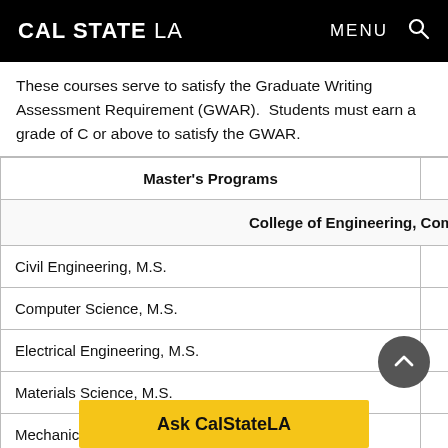CAL STATE LA  MENU
These courses serve to satisfy the Graduate Writing Assessment Requirement (GWAR).  Students must earn a grade of C or above to satisfy the GWAR.
| Master's Programs | Graduate C... |
| --- | --- |
| College of Engineering, Computer Science and Tec... |  |
| Civil Engineering, M.S. |  |
| Computer Science, M.S. | CS 5... |
| Electrical Engineering, M.S. |  |
| Materials Science, M.S. |  |
| Mechanical E... |  |